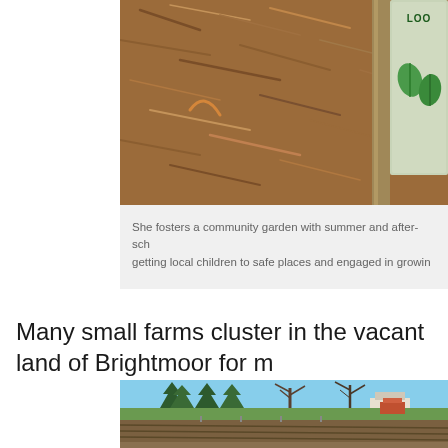[Figure (photo): Aerial or close-up view of mulch/wood chips on the ground with a wooden post and a sign with green leaf graphics, partially cropped at right edge]
She fosters a community garden with summer and after-sch... getting local children to safe places and engaged in growin...
Many small farms cluster in the vacant land of Brightmoor for m...
[Figure (photo): Outdoor photo showing a park or farm area with large evergreen and bare deciduous trees, tilled soil in the foreground with rows visible, and a structure in the background]